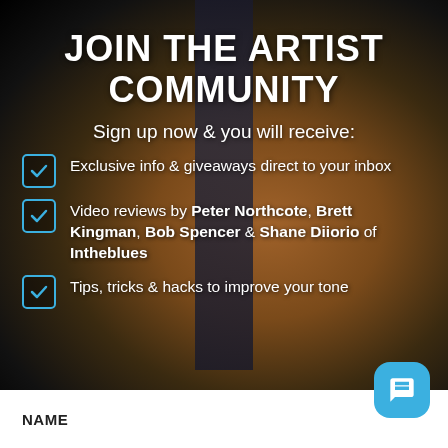JOIN THE ARTIST COMMUNITY
Sign up now & you will receive:
Exclusive info & giveaways direct to your inbox
Video reviews by Peter Northcote, Brett Kingman, Bob Spencer & Shane Diiorio of Intheblues
Tips, tricks & hacks to improve your tone
NAME